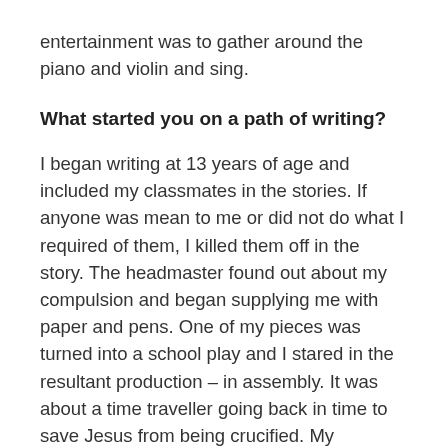entertainment was to gather around the piano and violin and sing.
What started you on a path of writing?
I began writing at 13 years of age and included my classmates in the stories. If anyone was mean to me or did not do what I required of them, I killed them off in the story. The headmaster found out about my compulsion and began supplying me with paper and pens. One of my pieces was turned into a school play and I stared in the resultant production – in assembly. It was about a time traveller going back in time to save Jesus from being crucified. My inspirations were Asimov, Heinlein and Harrison. I later moved onto Dick and Card (Philip. K. and Orson Scott, in case you were wondering). Once a father I wrote stories for my